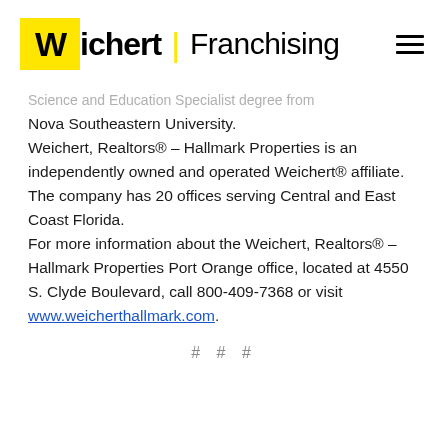Wichert | Franchising
Science and Education Specialist degree from Nova Southeastern University.
Weichert, Realtors® – Hallmark Properties is an independently owned and operated Weichert® affiliate. The company has 20 offices serving Central and East Coast Florida.
For more information about the Weichert, Realtors® – Hallmark Properties Port Orange office, located at 4550 S. Clyde Boulevard, call 800-409-7368 or visit www.weicherthallmark.com.
# # #